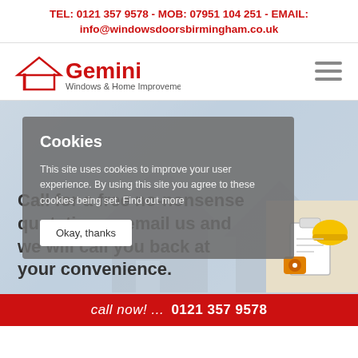TEL: 0121 357 9578 - MOB: 07951 104 251 - EMAIL: info@windowsdoorsbirmingham.co.uk
[Figure (logo): Gemini Windows & Home Improvements logo with red house icon and red text]
[Figure (screenshot): Website screenshot showing Gemini Windows & Home Improvements homepage with a cookie consent overlay. The overlay reads: Cookies - This site uses cookies to improve your user experience. By using this site you agree to these cookies being set. Find out more - with an Okay, thanks button. Behind the overlay is hero text: Call for a free no-nonsense quotation or email us and we will call you back at your convenience. A photo of tools/clipboard is visible on the right. A red call bar at the bottom reads: call now! ... 0121 357 9578]